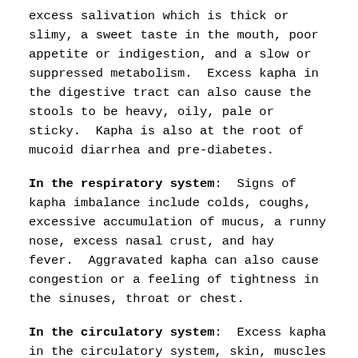excess salivation which is thick or slimy, a sweet taste in the mouth, poor appetite or indigestion, and a slow or suppressed metabolism.  Excess kapha in the digestive tract can also cause the stools to be heavy, oily, pale or sticky.  Kapha is also at the root of mucoid diarrhea and pre-diabetes.
In the respiratory system:  Signs of kapha imbalance include colds, coughs, excessive accumulation of mucus, a runny nose, excess nasal crust, and hay fever.  Aggravated kapha can also cause congestion or a feeling of tightness in the sinuses, throat or chest.
In the circulatory system:  Excess kapha in the circulatory system, skin, muscles and adipose tissue can be an indication that a kapha imbalance is starting to spread.  This may cause lymphatic congestion, swollen